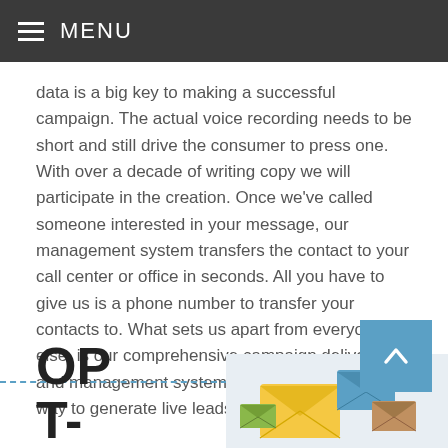MENU
data is a big key to making a successful campaign. The actual voice recording needs to be short and still drive the consumer to press one. With over a decade of writing copy we will participate in the creation. Once we've called someone interested in your message, our management system transfers the contact to your call center or office in seconds. All you have to give us is a phone number to transfer your contacts to. What sets us apart from everyone else, is our comprehensive campaign delivery and management system. This is a very proactive way to generate live leads.
[Figure (illustration): Scroll-to-top button (blue square with white upward chevron) overlapping a dashed horizontal line divider]
OP T-
[Figure (illustration): Email envelope icons illustration on a light grey background, showing multiple colorful envelope icons scattered]